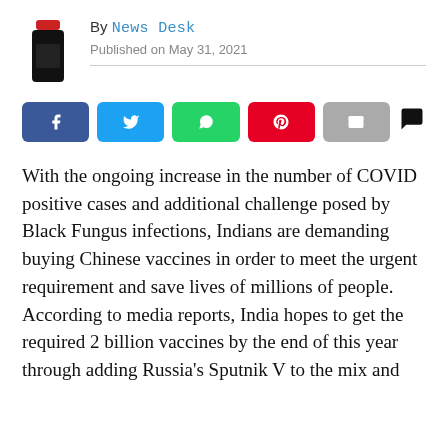By News Desk
Published on May 31, 2021
[Figure (logo): Black flask/bottle icon with red cap]
With the ongoing increase in the number of COVID positive cases and additional challenge posed by Black Fungus infections, Indians are demanding buying Chinese vaccines in order to meet the urgent requirement and save lives of millions of people. According to media reports, India hopes to get the required 2 billion vaccines by the end of this year through adding Russia's Sputnik V to the mix and